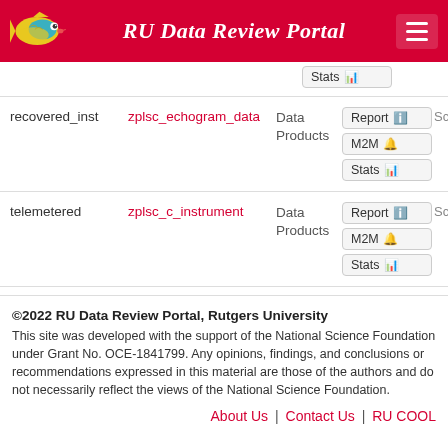RU Data Review Portal
| Method | Stream | Type | Actions |
| --- | --- | --- | --- |
|  |  |  | Stats |
| recovered_inst | zplsc_echogram_data | Data Products | Report | M2M | Stats |
| telemetered | zplsc_c_instrument | Data Products | Report | M2M | Stats |
©2022 RU Data Review Portal, Rutgers University
This site was developed with the support of the National Science Foundation under Grant No. OCE-1841799. Any opinions, findings, and conclusions or recommendations expressed in this material are those of the authors and do not necessarily reflect the views of the National Science Foundation.
About Us | Contact Us | RU COOL